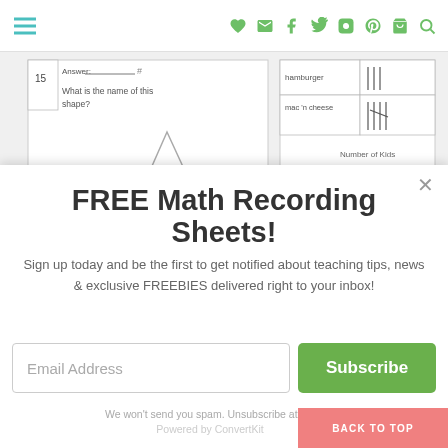Navigation bar with hamburger menu and social icons
[Figure (screenshot): Worksheet preview showing math/shape questions with tally chart about hamburger and mac n cheese]
FREE Math Recording Sheets!
Sign up today and be the first to get notified about teaching tips, news & exclusive FREEBIES delivered right to your inbox!
Email Address
Subscribe
We won't send you spam. Unsubscribe at any time.
Powered by ConvertKit
BACK TO TOP